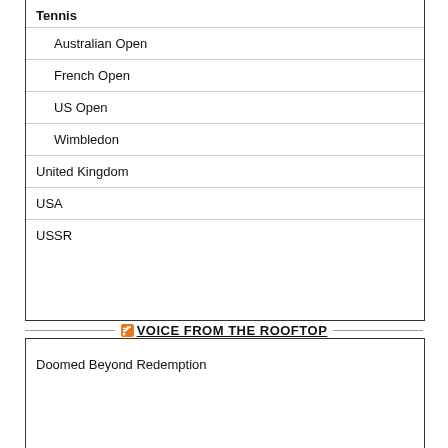Tennis
Australian Open
French Open
US Open
Wimbledon
United Kingdom
USA
USSR
VOICE FROM THE ROOFTOP
Doomed Beyond Redemption